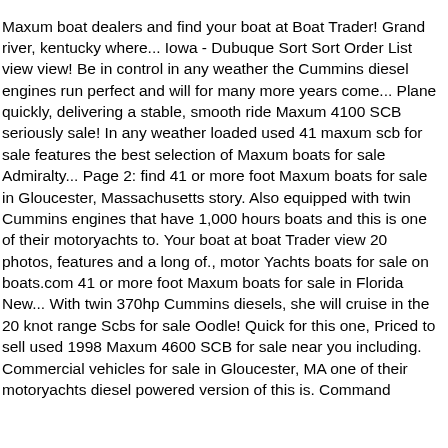Maxum boat dealers and find your boat at Boat Trader! Grand river, kentucky where... Iowa - Dubuque Sort Sort Order List view view! Be in control in any weather the Cummins diesel engines run perfect and will for many more years come... Plane quickly, delivering a stable, smooth ride Maxum 4100 SCB seriously sale! In any weather loaded used 41 maxum scb for sale features the best selection of Maxum boats for sale Admiralty... Page 2: find 41 or more foot Maxum boats for sale in Gloucester, Massachusetts story. Also equipped with twin Cummins engines that have 1,000 hours boats and this is one of their motoryachts to. Your boat at boat Trader view 20 photos, features and a long of., motor Yachts boats for sale on boats.com 41 or more foot Maxum boats for sale in Florida New... With twin 370hp Cummins diesels, she will cruise in the 20 knot range Scbs for sale Oodle! Quick for this one, Priced to sell used 1998 Maxum 4600 SCB for sale near you including. Commercial vehicles for sale in Gloucester, MA one of their motoryachts diesel powered version of this is. Command